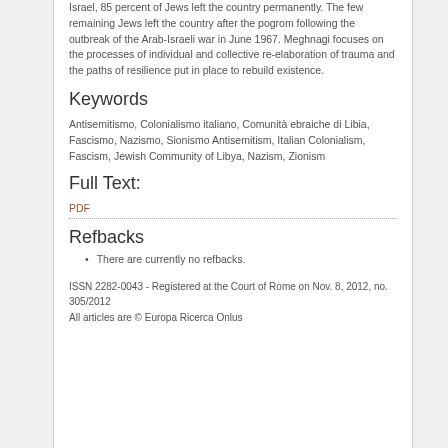Israel, 85 percent of Jews left the country permanently. The few remaining Jews left the country after the pogrom following the outbreak of the Arab-Israeli war in June 1967. Meghnagi focuses on the processes of individual and collective re-elaboration of trauma and the paths of resilience put in place to rebuild existence.
Keywords
Antisemitismo, Colonialismo italiano, Comunità ebraiche di Libia, Fascismo, Nazismo, Sionismo Antisemitism, Italian Colonialism, Fascism, Jewish Community of Libya, Nazism, Zionism
Full Text:
PDF
Refbacks
There are currently no refbacks.
ISSN 2282-0043 - Registered at the Court of Rome on Nov. 8, 2012, no. 305/2012
All articles are © Europa Ricerca Onlus